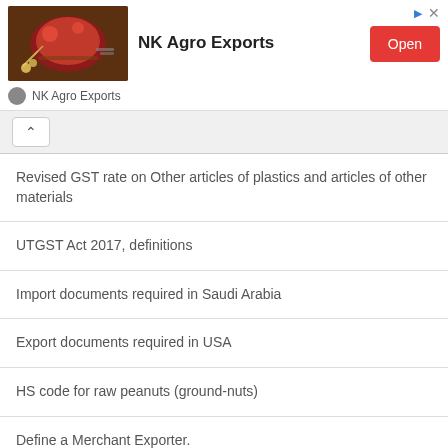[Figure (infographic): NK Agro Exports advertisement banner with spices image, company name, and Open button]
Revised GST rate on Other articles of plastics and articles of other materials
UTGST Act 2017, definitions
Import documents required in Saudi Arabia
Export documents required in USA
HS code for raw peanuts (ground-nuts)
Define a Merchant Exporter.
FOB shipments Responsibility of buyer and seller
GST slab rate on sale or purchase of Composite supply of Works contract